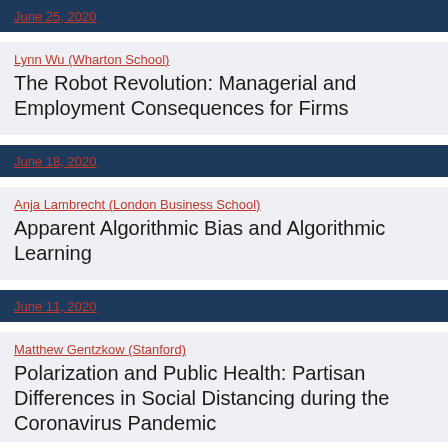June 25, 2020
Lynn Wu (Wharton School)
The Robot Revolution: Managerial and Employment Consequences for Firms
June 18, 2020
Anja Lambrecht (London Business School)
Apparent Algorithmic Bias and Algorithmic Learning
June 11, 2020
Matthew Gentzkow (Stanford)
Polarization and Public Health: Partisan Differences in Social Distancing during the Coronavirus Pandemic